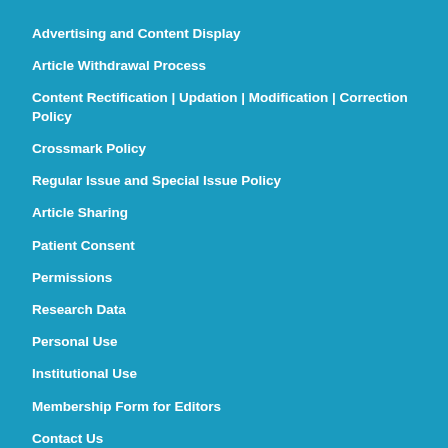Advertising and Content Display
Article Withdrawal Process
Content Rectification | Updation | Modification | Correction Policy
Crossmark Policy
Regular Issue and Special Issue Policy
Article Sharing
Patient Consent
Permissions
Research Data
Personal Use
Institutional Use
Membership Form for Editors
Contact Us